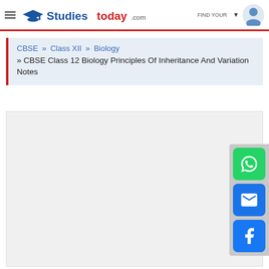StudiesToday.com — navigation header with logo, hamburger menu, Find Tutor link, dropdown arrow, avatar icon
CBSE » Class XII » Biology
» CBSE Class 12 Biology Principles Of Inheritance And Variation Notes
[Figure (screenshot): Empty light-grey content area placeholder for embedded document/PDF viewer]
[Figure (infographic): Social share panel with WhatsApp (green), Email (blue), and Facebook (blue) buttons on the right edge]